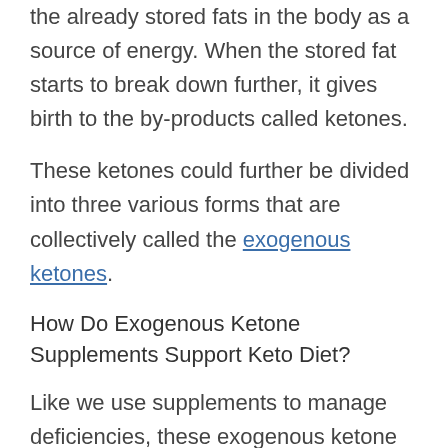the already stored fats in the body as a source of energy. When the stored fat starts to break down further, it gives birth to the by-products called ketones.
These ketones could further be divided into three various forms that are collectively called the exogenous ketones.
How Do Exogenous Ketone Supplements Support Keto Diet?
Like we use supplements to manage deficiencies, these exogenous ketone